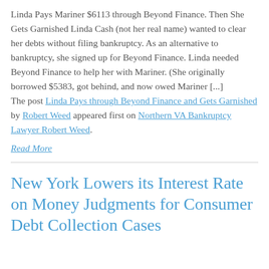Linda Pays Mariner $6113 through Beyond Finance. Then She Gets Garnished Linda Cash (not her real name) wanted to clear her debts without filing bankruptcy. As an alternative to bankruptcy, she signed up for Beyond Finance. Linda needed Beyond Finance to help her with Mariner. (She originally borrowed $5383, got behind, and now owed Mariner [...] The post Linda Pays through Beyond Finance and Gets Garnished by Robert Weed appeared first on Northern VA Bankruptcy Lawyer Robert Weed.
Read More
New York Lowers its Interest Rate on Money Judgments for Consumer Debt Collection Cases